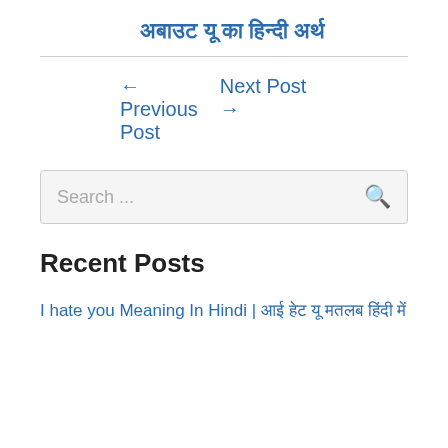अबाउट यू का हिन्दी अर्थ
← Previous Post
Next Post →
Search ...
Recent Posts
I hate you Meaning In Hindi | आई हेट यू मतलब हिंदी में